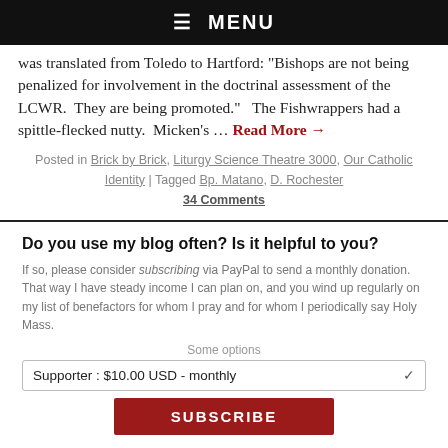☰  MENU
was translated from Toledo to Hartford: "Bishops are not being penalized for involvement in the doctrinal assessment of the LCWR.  They are being promoted."  The Fishwrappers had a spittle-flecked nutty.  Micken's … Read More →
Posted in Brick by Brick, Liturgy Science Theatre 3000, Our Catholic Identity | Tagged Bp. Matano, D. Rochester
34 Comments
Do you use my blog often? Is it helpful to you?
If so, please consider subscribing via PayPal to send a monthly donation. That way I have steady income I can plan on, and you wind up regularly on my list of benefactors for whom I pray and for whom I periodically say Holy Mass.
Some options
Supporter : $10.00 USD - monthly
SUBSCRIBE